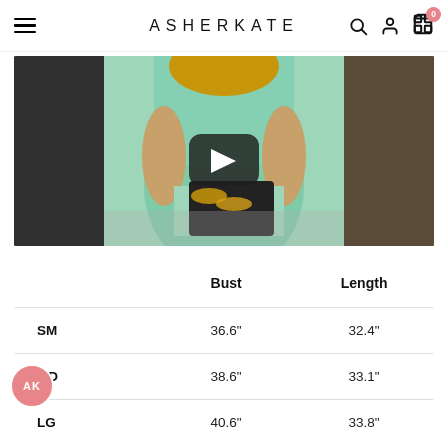ASHERKATE
[Figure (screenshot): Video thumbnail showing a woman in a mint green dress, with a YouTube-style play button overlay in the center.]
|  | Bust | Length |
| --- | --- | --- |
| SM | 36.6" | 32.4" |
| MD | 38.6" | 33.1" |
| LG | 40.6" | 33.8" |